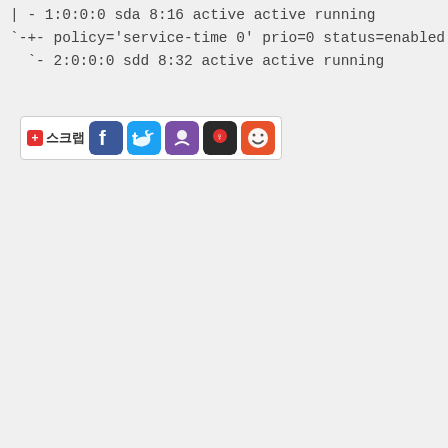| - 1:0:0:0 sda 8:16 active active running
`-+- policy='service-time 0' prio=0 status=enabled
  `- 2:0:0:0 sdd 8:32 active active running
[Figure (other): Social sharing bar with scrap button and icons for Facebook, Twitter, Naver, and other Korean social services]